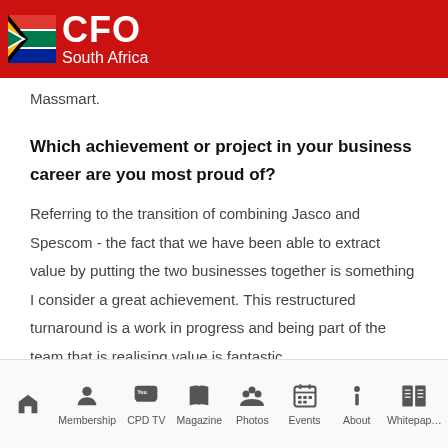CFO South Africa
Massmart.
Which achievement or project in your business career are you most proud of?
Referring to the transition of combining Jasco and Spescom - the fact that we have been able to extract value by putting the two businesses together is something I consider a great achievement. This restructured turnaround is a work in progress and being part of the team that is realising value is fantastic.
What we have been doing for the past year has been quite critical, and we
Home | Membership | CPD TV | Magazine | Photos | Events | About | Whitepaper